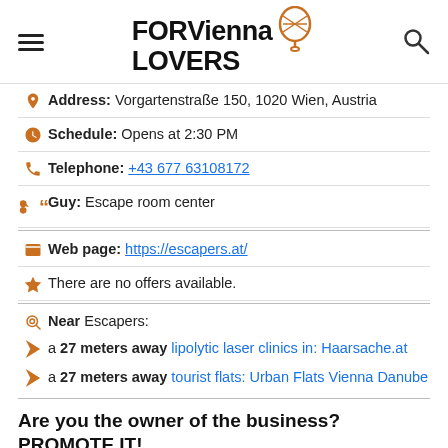FORViennaLOVERS
Address: Vorgartenstraße 150, 1020 Wien, Austria
Schedule: Opens at 2:30 PM
Telephone: +43 677 63108172
Guy: Escape room center
Web page: https://escapers.at/
There are no offers available.
Near Escapers:
a 27 meters away lipolytic laser clinics in: Haarsache.at
a 27 meters away tourist flats: Urban Flats Vienna Danube
Are you the owner of the business? PROMOTE IT!